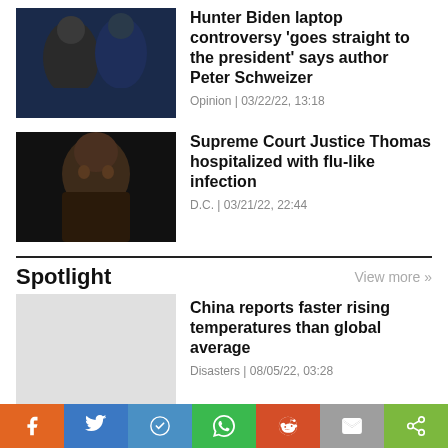[Figure (photo): Two people in dark clothing on a stage with blue background]
Hunter Biden laptop controversy 'goes straight to the president' says author Peter Schweizer
Opinion | 03/22/22, 13:18
[Figure (photo): Black and white portrait of an older Black man in a dark suit]
Supreme Court Justice Thomas hospitalized with flu-like infection
D.C. | 03/21/22, 22:44
Spotlight
View more >>
China reports faster rising temperatures than global average
Disasters | 08/05/22, 03:28